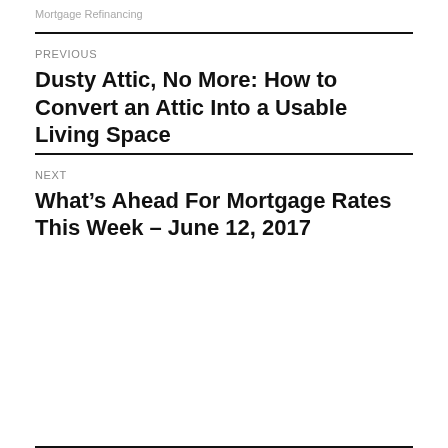Mortgage Refinancing
PREVIOUS
Dusty Attic, No More: How to Convert an Attic Into a Usable Living Space
NEXT
What's Ahead For Mortgage Rates This Week – June 12, 2017